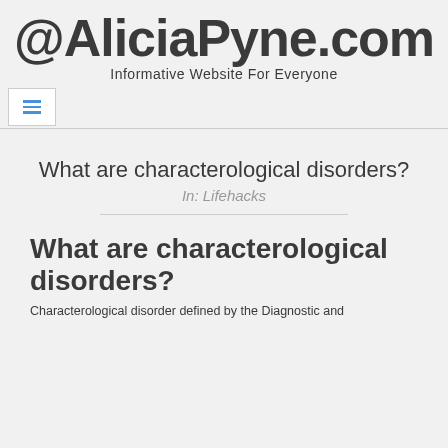@AliciaPyne.com
Informative Website For Everyone
What are characterological disorders?
In: Lifehacks
What are characterological disorders?
Characterological disorder defined by the Diagnostic and